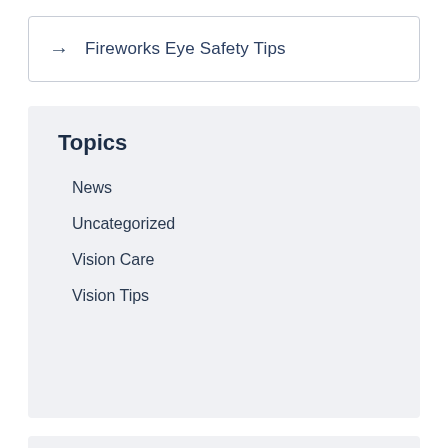→  Fireworks Eye Safety Tips
Topics
News
Uncategorized
Vision Care
Vision Tips
Shop Online
Browse our online store for eye care products.